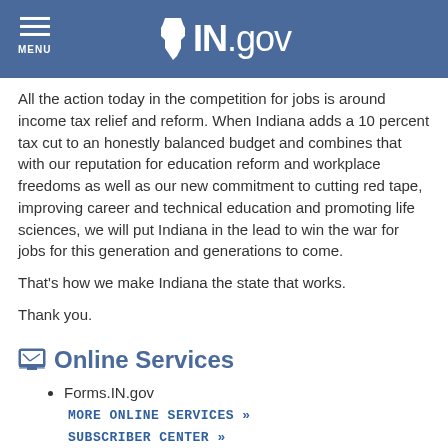IN.gov
All the action today in the competition for jobs is around income tax relief and reform. When Indiana adds a 10 percent tax cut to an honestly balanced budget and combines that with our reputation for education reform and workplace freedoms as well as our new commitment to cutting red tape, improving career and technical education and promoting life sciences, we will put Indiana in the lead to win the war for jobs for this generation and generations to come.
That's how we make Indiana the state that works.
Thank you.
Online Services
Forms.IN.gov
MORE ONLINE SERVICES »
SUBSCRIBER CENTER »